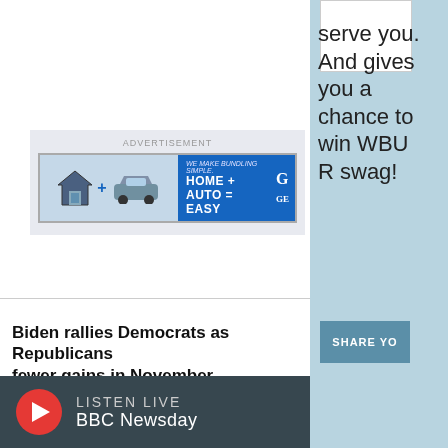[Figure (screenshot): Advertisement banner: 'WE MAKE BUNDLING SIMPLE. HOME + AUTO = EASY' with house and car graphic on blue background]
ADVERTISEMENT
Biden rallies Democrats as Republicans fewer gains in November
President Biden had fiery words for Repu night as he sought to rally Democrats ju from Election Day.
Here & Now  10:49  Aug 26, 2022
LISTEN LIVE
BBC Newsday
serve you. And gives you a chance to win WBUR swag!
SHARE YO